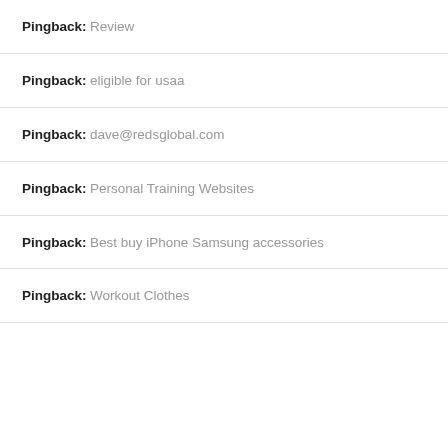Pingback: Review
Pingback: eligible for usaa
Pingback: dave@redsglobal.com
Pingback: Personal Training Websites
Pingback: Best buy iPhone Samsung accessories
Pingback: Workout Clothes